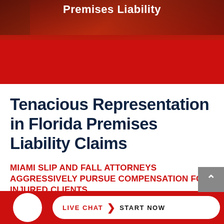[Figure (screenshot): Red banner hero image with 'Premises Liability' title text over a dark red/orange background]
Tenacious Representation in Florida Premises Liability Claims
MIAMI SLIP AND FALL ATTORNEYS AGGRESSIVELY PURSUE COMPENSATION FOR INJURED CLIENTS
[Figure (infographic): Red footer bar with a white circular chat icon on the left and a white pill-shaped button reading 'LIVE CHAT > START NOW']